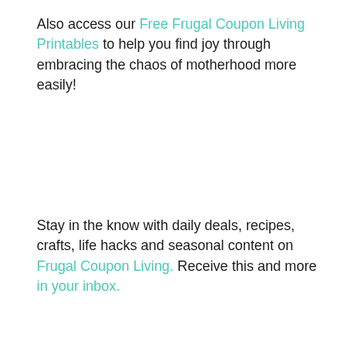Also access our Free Frugal Coupon Living Printables to help you find joy through embracing the chaos of motherhood more easily!
Stay in the know with daily deals, recipes, crafts, life hacks and seasonal content on Frugal Coupon Living. Receive this and more in your inbox.